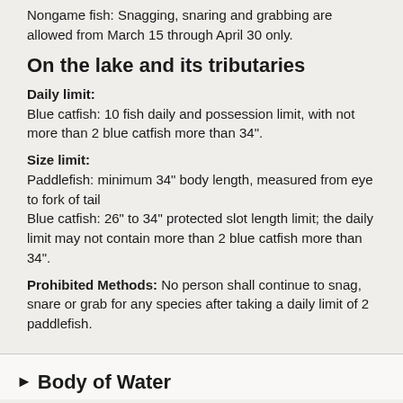Nongame fish: Snagging, snaring and grabbing are allowed from March 15 through April 30 only.
On the lake and its tributaries
Daily limit:
Blue catfish: 10 fish daily and possession limit, with not more than 2 blue catfish more than 34".
Size limit:
Paddlefish: minimum 34" body length, measured from eye to fork of tail
Blue catfish: 26" to 34" protected slot length limit; the daily limit may not contain more than 2 blue catfish more than 34".
Prohibited Methods: No person shall continue to snag, snare or grab for any species after taking a daily limit of 2 paddlefish.
Body of Water